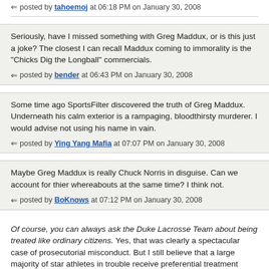posted by tahoemoj at 06:18 PM on January 30, 2008
Seriously, have I missed something with Greg Maddux, or is this just a joke? The closest I can recall Maddux coming to immorality is the "Chicks Dig the Longball" commercials.
posted by bender at 06:43 PM on January 30, 2008
Some time ago SportsFilter discovered the truth of Greg Maddux. Underneath his calm exterior is a rampaging, bloodthirsty murderer. I would advise not using his name in vain.
posted by Ying Yang Mafia at 07:07 PM on January 30, 2008
Maybe Greg Maddux is really Chuck Norris in disguise. Can we account for thier whereabouts at the same time? I think not.
posted by BoKnows at 07:12 PM on January 30, 2008
Of course, you can always ask the Duke Lacrosse Team about being treated like ordinary citizens. Yes, that was clearly a spectacular case of prosecutorial misconduct. But I still believe that a large majority of star athletes in trouble receive preferential treatment rather than overzealous prosecution. Once prosecutors, defenders, judges and juries consistently